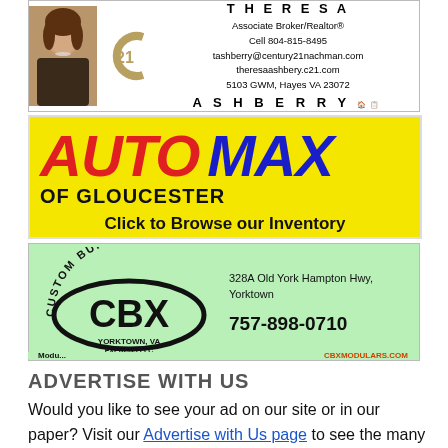[Figure (advertisement): Century 21 Theresa Ashberry realtor advertisement with photo, C21 logo, contact info: Associate Broker/Realtor, Cell 804-815-8495, tashberry@century21nachman.com, theresaashbery.c21.com, 5103 GWM, Hayes VA 23072]
[Figure (advertisement): Auto Max of Gloucester advertisement with yellow background, red AUTO and blue MAX text, 'Click to Browse our Inventory']
[Figure (advertisement): CBX Custom Builders advertisement with green background, CBX logo oval, address 328A Old York Hampton Hwy, Yorktown, phone 757-898-0710, CBXMODULARS.COM]
ADVERTISE WITH US
Would you like to see your ad on our site or in our paper? Visit our Advertise with Us page to see the many ways you can advertise your business.